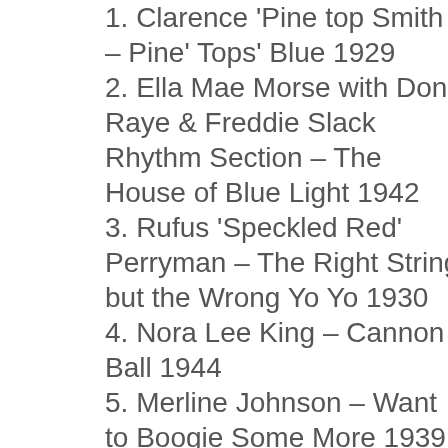1. Clarence 'Pine top Smith – Pine' Tops' Blue 1929
2. Ella Mae Morse with Don Raye & Freddie Slack Rhythm Section – The House of Blue Light 1942
3. Rufus 'Speckled Red' Perryman – The Right String but the Wrong Yo Yo 1930
4. Nora Lee King – Cannon Ball 1944
5. Merline Johnson – Want to Boogie Some More 1939
6. Cow Cow